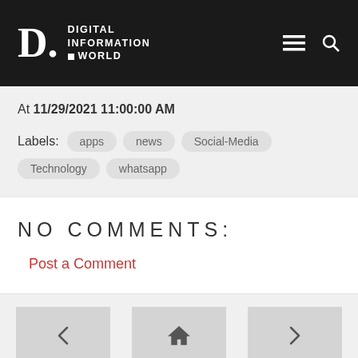DIGITAL INFORMATION WORLD
At 11/29/2021 11:00:00 AM
Labels: apps  news  Social-Media  Technology  whatsapp
NO COMMENTS:
Post a Comment
< [home] >